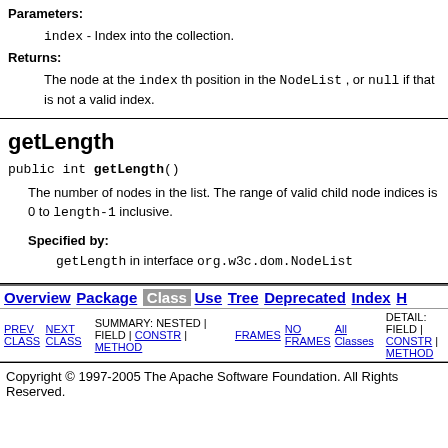Parameters:
  index - Index into the collection.
Returns:
  The node at the index th position in the NodeList, or null if that is not a valid index.
getLength
public int getLength()
The number of nodes in the list. The range of valid child node indices is 0 to length-1 inclusive.
Specified by:
  getLength in interface org.w3c.dom.NodeList
Overview | Package | Class | Use | Tree | Deprecated | Index | H
PREV CLASS  NEXT CLASS  FRAMES  NO FRAMES  All Classes
SUMMARY: NESTED | FIELD | CONSTR | METHOD  DETAIL: FIELD | CONSTR | METHOD
Copyright © 1997-2005 The Apache Software Foundation. All Rights Reserved.